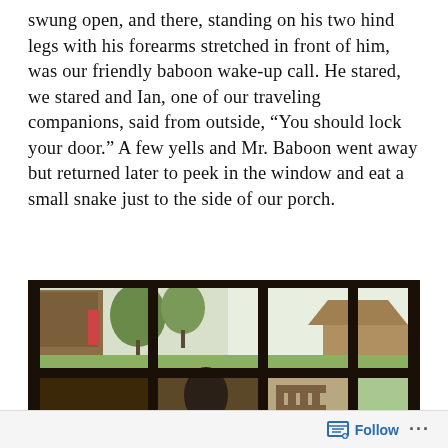swung open, and there, standing on his two hind legs with his forearms stretched in front of him, was our friendly baboon wake-up call. He stared, we stared and Ian, one of our traveling companions, said from outside, “You should lock your door.” A few yells and Mr. Baboon went away but returned later to peek in the window and eat a small snake just to the side of our porch.
[Figure (photo): View from inside a room looking out through a multi-pane window with dark wooden frames. A baboon is visible through the lower center panes, bent over on a porch. Outside shows trees, grass, and outbuildings in daylight.]
Follow ···